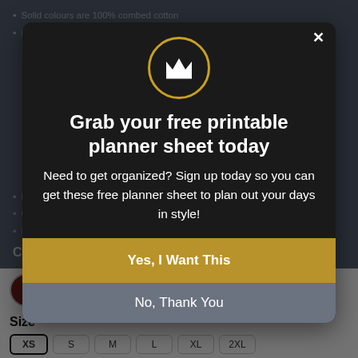Solid colours are 100% combed cotton
Heather colours are 52% of cotton and polyester. Melange: 83% cotton and 17% polyester. Charcoal: 55% cotton and 43%...
Light weight...
[Figure (logo): Crown/M logo in a gold circle on dark background]
Grab your free printable planner sheet today
Need to get organized? Sign up today so you can get these free planner sheet to plan out your days in style!
Yes, I Want This
No, Thank You
Color
[Figure (infographic): Three color swatches: brown, light gray, dark green; followed by a lightning bolt 'by Convertful' badge]
Size
XS  S  M  L  XL  2XL